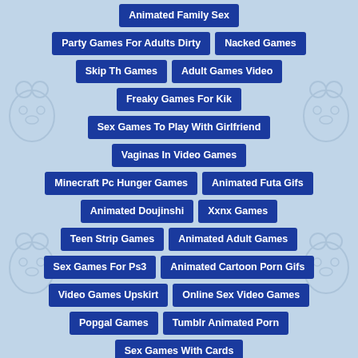Animated Family Sex
Party Games For Adults Dirty
Nacked Games
Skip Th Games
Adult Games Video
Freaky Games For Kik
Sex Games To Play With Girlfriend
Vaginas In Video Games
Minecraft Pc Hunger Games
Animated Futa Gifs
Animated Doujinshi
Xxnx Games
Teen Strip Games
Animated Adult Games
Sex Games For Ps3
Animated Cartoon Porn Gifs
Video Games Upskirt
Online Sex Video Games
Popgal Games
Tumblr Animated Porn
Sex Games With Cards
Harry Potter Animated Porn
Pornstar Games
Sleeping Sex Games
Skip The Games Asheville Nc